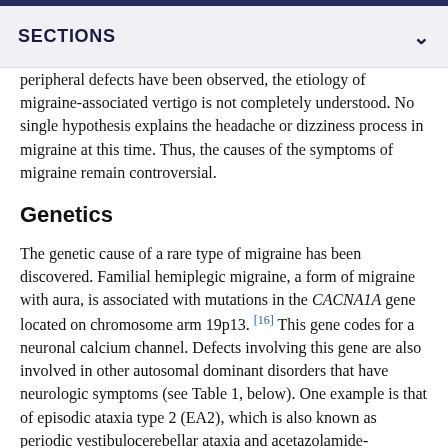SECTIONS
peripheral defects have been observed, the etiology of migraine-associated vertigo is not completely understood. No single hypothesis explains the headache or dizziness process in migraine at this time. Thus, the causes of the symptoms of migraine remain controversial.
Genetics
The genetic cause of a rare type of migraine has been discovered. Familial hemiplegic migraine, a form of migraine with aura, is associated with mutations in the CACNA1A gene located on chromosome arm 19p13. [16] This gene codes for a neuronal calcium channel. Defects involving this gene are also involved in other autosomal dominant disorders that have neurologic symptoms (see Table 1, below). One example is that of episodic ataxia type 2 (EA2), which is also known as periodic vestibulocerebellar ataxia and acetazolamide-responsive hereditary paroxysmal cerebellar ataxia. In cases of EA2, a pH abnormality has been discovered, and it often